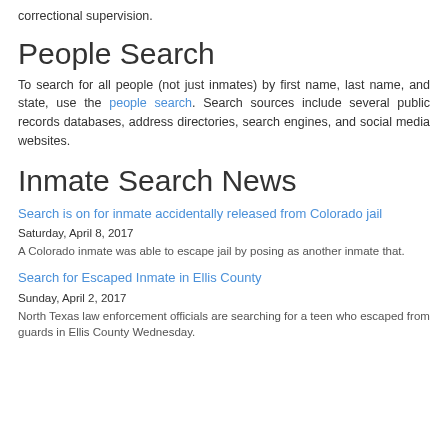correctional supervision.
People Search
To search for all people (not just inmates) by first name, last name, and state, use the people search. Search sources include several public records databases, address directories, search engines, and social media websites.
Inmate Search News
Search is on for inmate accidentally released from Colorado jail
Saturday, April 8, 2017
A Colorado inmate was able to escape jail by posing as another inmate that.
Search for Escaped Inmate in Ellis County
Sunday, April 2, 2017
North Texas law enforcement officials are searching for a teen who escaped from guards in Ellis County Wednesday.